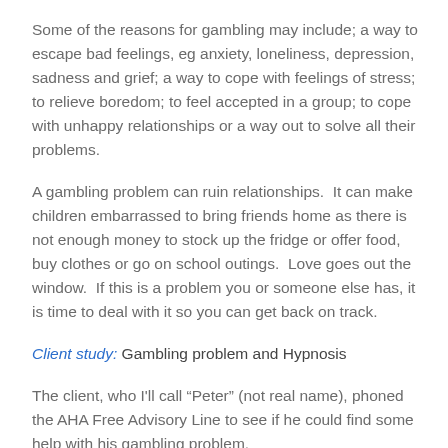Some of the reasons for gambling may include; a way to escape bad feelings, eg anxiety, loneliness, depression, sadness and grief; a way to cope with feelings of stress; to relieve boredom; to feel accepted in a group; to cope with unhappy relationships or a way out to solve all their problems.
A gambling problem can ruin relationships.  It can make children embarrassed to bring friends home as there is not enough money to stock up the fridge or offer food, buy clothes or go on school outings.  Love goes out the window.  If this is a problem you or someone else has, it is time to deal with it so you can get back on track.
Client study: Gambling problem and Hypnosis
The client, who I'll call “Peter” (not real name), phoned the AHA Free Advisory Line to see if he could find some help with his gambling problem.